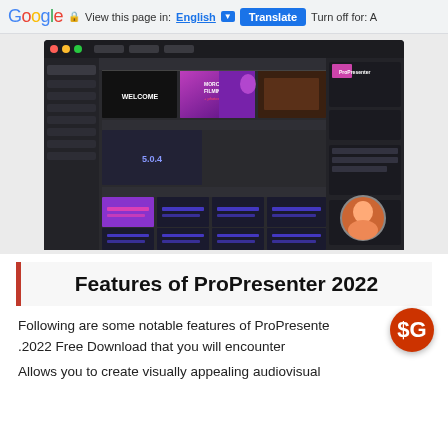Google  View this page in: English [▼]  Translate  Turn off for: A
[Figure (screenshot): Screenshot of ProPresenter 2022 software interface showing a dark-themed media presentation application with multiple slide thumbnails including Welcome slide, motion graphics, purple gradient slides, and video content arranged in a grid layout.]
Features of ProPresenter 2022
Following are some notable features of ProPresenter .2022 Free Download that you will encounter
Allows you to create visually appealing audiovisual